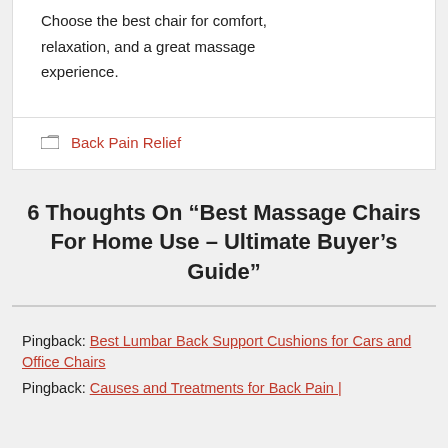Choose the best chair for comfort, relaxation, and a great massage experience.
Back Pain Relief
6 Thoughts On “Best Massage Chairs For Home Use – Ultimate Buyer’s Guide”
Pingback: Best Lumbar Back Support Cushions for Cars and Office Chairs
Pingback: Causes and Treatments for Back Pain |